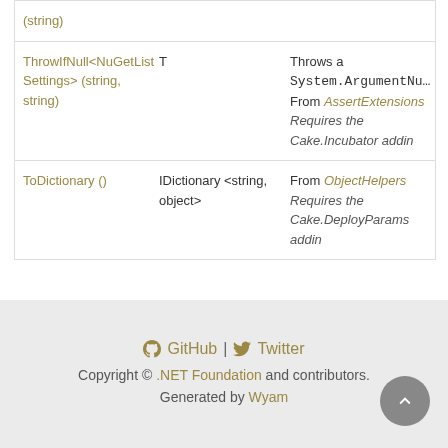| Name | Type | Description |
| --- | --- | --- |
| (string) |  |  |
| ThrowIfNull<NuGetListSettings>(string, string) | T | Throws a System.ArgumentNu…
From AssertExtensions
Requires the Cake.Incubator addin |
| ToDictionary() | IDictionary<string, object> | From ObjectHelpers
Requires the Cake.DeployParams addin |
GitHub | Twitter
Copyright © .NET Foundation and contributors.
Generated by Wyam